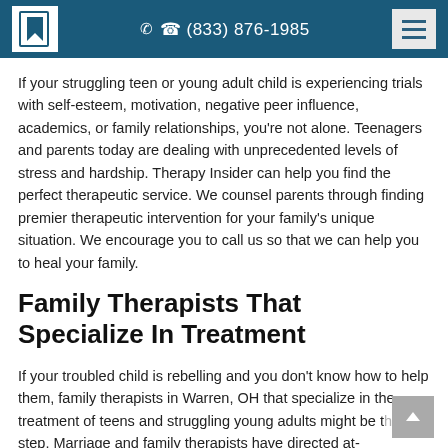(833) 876-1985
If your struggling teen or young adult child is experiencing trials with self-esteem, motivation, negative peer influence, academics, or family relationships, you're not alone. Teenagers and parents today are dealing with unprecedented levels of stress and hardship. Therapy Insider can help you find the perfect therapeutic service. We counsel parents through finding premier therapeutic intervention for your family's unique situation. We encourage you to call us so that we can help you to heal your family.
Family Therapists That Specialize In Treatment
If your troubled child is rebelling and you don't know how to help them, family therapists in Warren, OH that specialize in the treatment of teens and struggling young adults might be the first step. Marriage and family therapists have directed at-teens and troubled young adults through all kinds of family and